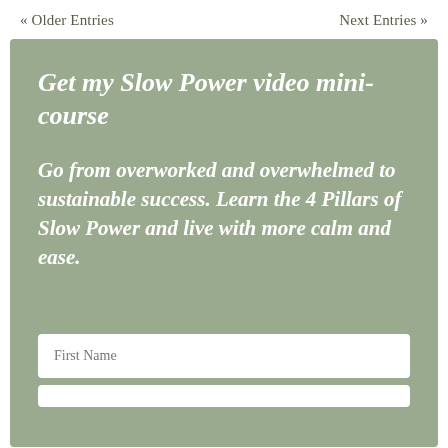« Older Entries    Next Entries »
Get my Slow Power video mini-course
Go from overworked and overwhelmed to sustainable success. Learn the 4 Pillars of Slow Power and live with more calm and ease.
First Name